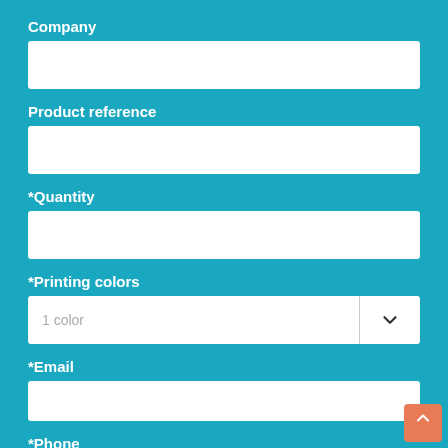Company
*Quantity
Product reference
*Printing colors
*Email
*Phone